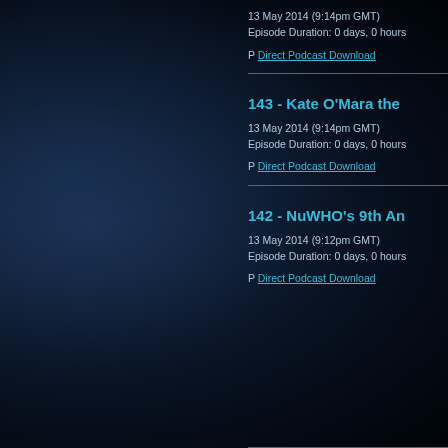13 May 2014 (9:14pm GMT)
Episode Duration: 0 days, 0 hours
P Direct Podcast Download
143 - Kate O'Mara the
13 May 2014 (9:14pm GMT)
Episode Duration: 0 days, 0 hours
P Direct Podcast Download
142 - NuWHO's 9th An
13 May 2014 (9:12pm GMT)
Episode Duration: 0 days, 0 hours
P Direct Podcast Download